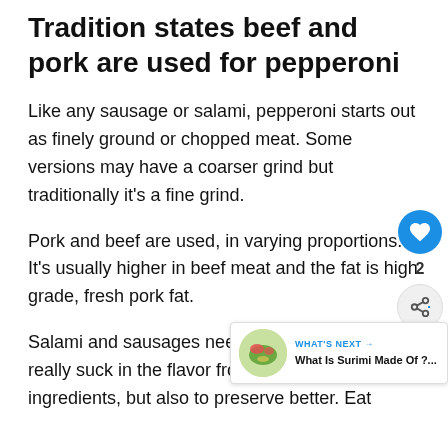Tradition states beef and pork are used for pepperoni
Like any sausage or salami, pepperoni starts out as finely ground or chopped meat. Some versions may have a coarser grind but traditionally it’s a fine grind.
Pork and beef are used, in varying proportions. It’s usually higher in beef meat and the fat is high grade, fresh pork fat.
Salami and sausages need both meat and fat to really suck in the flavor from the other ingredients, but also to preserve better. Eat